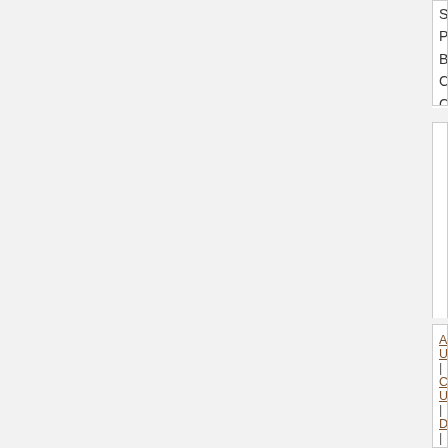Simon Parsons
Brooklyn College, City University of NY. USA
FAIML 2023   2023 International Conference...
WWW 2022   International World Wide Web...
WWW 2023   The Web Conference 2023
ETAPS 2023   26th European Joint Conference...
IEEE ICA 2022   The 6th IEEE International...
ACM-EI/Scopus-ACAI 2022   2022 5th International... Compendex
WSDM 2023   Web Search and Data Mining...
IEEE Big Data - MMBD 2022   IEEE Big Data...
IJCNN 2023   International Joint Conference...
CBW 2023   4th International Conference...
About Us | Contact Us | Data | Privacy Policy | Terms... Partners: AI2's Semantic Scholar
This wiki is licensed under a Creative Commons Attribu...